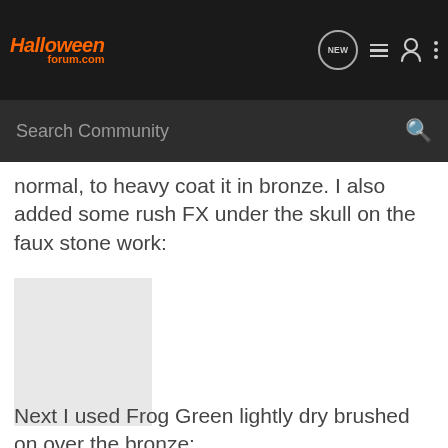HalloweenForum.com
normal, to heavy coat it in bronze. I also added some rush FX under the skull on the faux stone work:
[Figure (photo): A placeholder/loading image rectangle (gray box), representing a photo of a skull with bronze and rust FX on faux stone work.]
Next I used Frog Green lightly dry brushed on over the bronze: